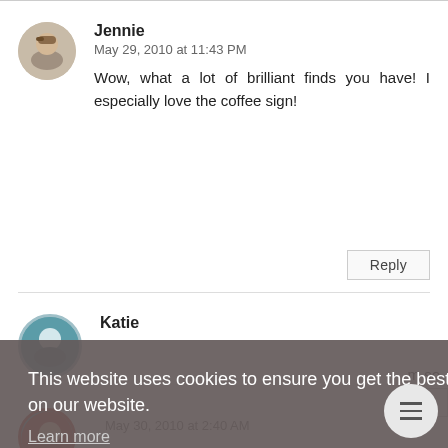Jennie
May 29, 2010 at 11:43 PM
Wow, what a lot of brilliant finds you have! I especially love the coffee sign!
Katie
This website uses cookies to ensure you get the best experience on our website.
Learn more
Got it!
May 30, 2010 at 2:40 AM